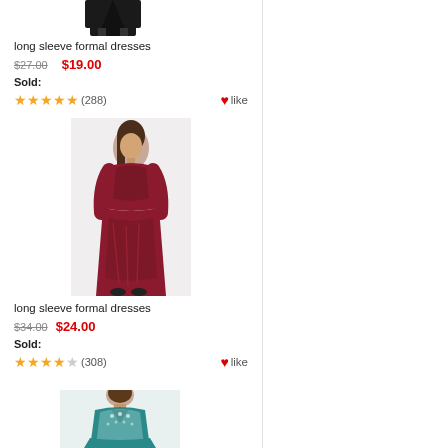[Figure (photo): Partial image of a black formal dress at the top of the page]
long sleeve formal dresses
$27.00  $19.00
Sold:
★★★★★ (288)  ❤like
[Figure (photo): Woman wearing a burgundy/red long sleeve formal floor-length dress]
long sleeve formal dresses
$34.00  $24.00
Sold:
★★★★☆ (308)  ❤like
[Figure (photo): Partial image of a teal/green formal dress at the bottom of the page]